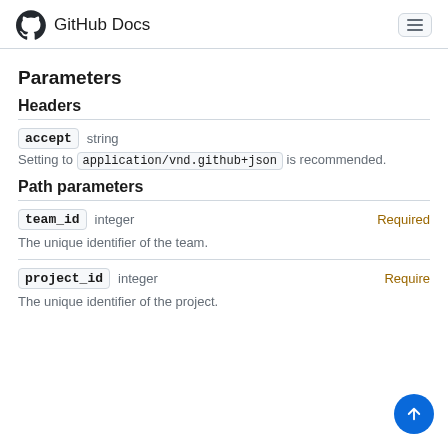GitHub Docs
Parameters
Headers
accept  string
Setting to application/vnd.github+json is recommended.
Path parameters
team_id  integer  Required
The unique identifier of the team.
project_id  integer  Required
The unique identifier of the project.